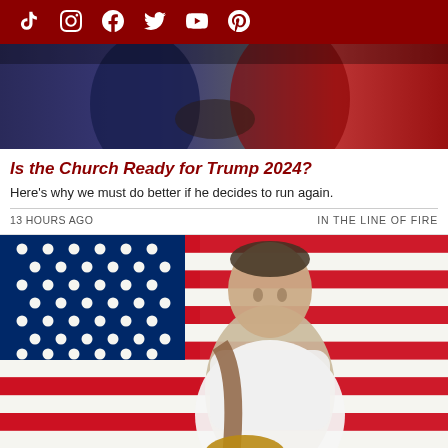Social media icons: TikTok, Instagram, Facebook, Twitter, YouTube, Pinterest
[Figure (photo): Two people shaking hands at a political rally with red campaign signage in the background]
Is the Church Ready for Trump 2024?
Here's why we must do better if he decides to run again.
13 HOURS AGO
IN THE LINE OF FIRE
[Figure (photo): A man in a white t-shirt with a guitar strap, standing in front of a large American flag backdrop]